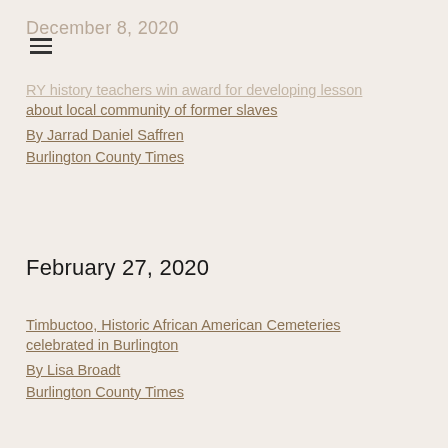December 8, 2020
RY history teachers win award for developing lesson about local community of former slaves
By Jarrad Daniel Saffren
Burlington County Times
February 27, 2020
Timbuctoo, Historic African American Cemeteries celebrated in Burlington
By Lisa Broadt
Burlington County Times